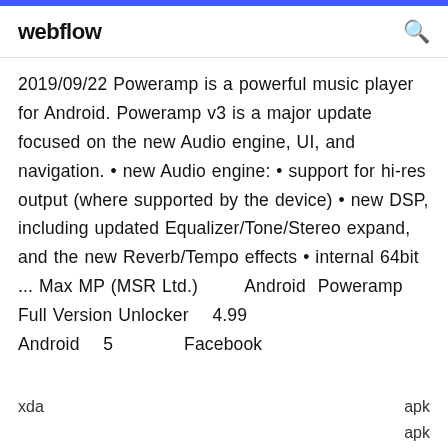webflow
2019/09/22 Poweramp is a powerful music player for Android. Poweramp v3 is a major update focused on the new Audio engine, UI, and navigation. • new Audio engine: • support for hi-res output (where supported by the device) • new DSP, including updated Equalizer/Tone/Stereo expand, and the new Reverb/Tempo effects • internal 64bit ... Max MP (MSR Ltd.)        Android  Poweramp Full Version Unlocker    4.99
Android    5            Facebook
xda        apk
apk